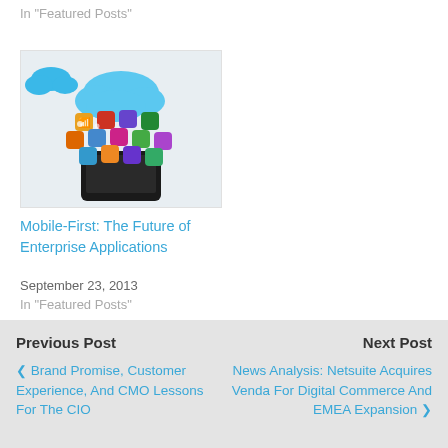In "Featured Posts"
[Figure (illustration): Cloud computing illustration with colorful app icons floating out of a smartphone, with blue clouds above]
Mobile-First: The Future of Enterprise Applications
September 23, 2013
In "Featured Posts"
Previous Post | Brand Promise, Customer Experience, And CMO Lessons For The CIO | Next Post | News Analysis: Netsuite Acquires Venda For Digital Commerce And EMEA Expansion